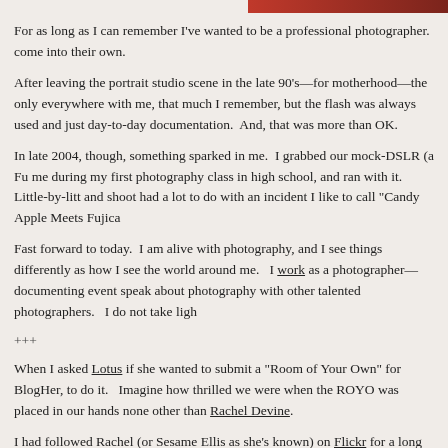[Figure (photo): Partial color photo strip visible at top right of page]
For as long as I can remember I've wanted to be a professional photographer. come into their own.
After leaving the portrait studio scene in the late 90's—for motherhood—the only everywhere with me, that much I remember, but the flash was always used and just day-to-day documentation.  And, that was more than OK.
In late 2004, though, something sparked in me.  I grabbed our mock-DSLR (a Fu me during my first photography class in high school, and ran with it.   Little-by-litt and shoot had a lot to do with an incident I like to call "Candy Apple Meets Fujica
Fast forward to today.  I am alive with photography, and I see things differently as how I see the world around me.   I work as a photographer—documenting event speak about photography with other talented photographers.   I do not take ligh
+++
When I asked Lotus if she wanted to submit a "Room of Your Own" for BlogHer, to do it.   Imagine how thrilled we were when the ROYO was placed in our hands none other than Rachel Devine.
I had followed Rachel (or Sesame Ellis as she's known) on Flickr for a long time. work intimidated me a lot.  I told Lotus that I was kind of scared that I wouldn't be
Then it happened.
We connected.